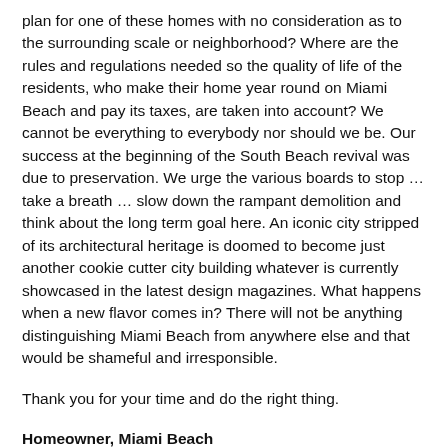plan for one of these homes with no consideration as to the surrounding scale or neighborhood? Where are the rules and regulations needed so the quality of life of the residents, who make their home year round on Miami Beach and pay its taxes, are taken into account? We cannot be everything to everybody nor should we be. Our success at the beginning of the South Beach revival was due to preservation. We urge the various boards to stop … take a breath … slow down the rampant demolition and think about the long term goal here. An iconic city stripped of its architectural heritage is doomed to become just another cookie cutter city building whatever is currently showcased in the latest design magazines. What happens when a new flavor comes in? There will not be anything distinguishing Miami Beach from anywhere else and that would be shameful and irresponsible.
Thank you for your time and do the right thing.
Homeowner, Miami Beach